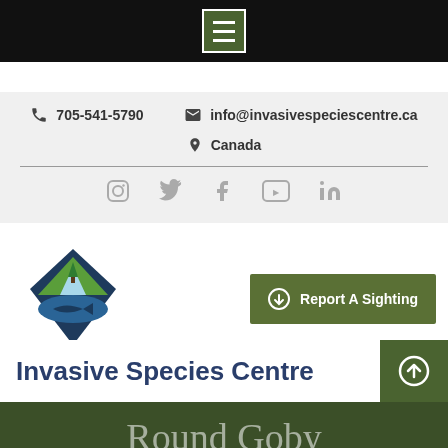[Figure (screenshot): Black navigation bar with hamburger menu button (three horizontal lines) on green background]
705-541-5790
info@invasivespeciescentre.ca
Canada
[Figure (infographic): Social media icons: Instagram, Twitter, Facebook, YouTube, LinkedIn]
[Figure (logo): Invasive Species Centre diamond-shaped logo with mountain, tree, and fish silhouette]
Report A Sighting
Invasive Species Centre
Round Goby